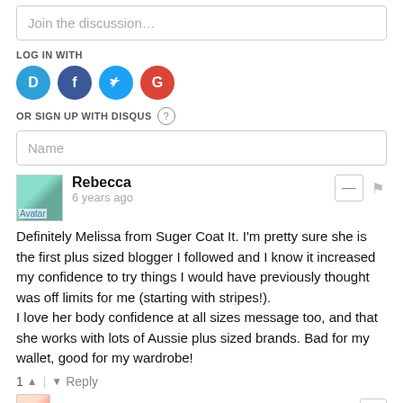Join the discussion…
LOG IN WITH
[Figure (infographic): Social login icons: Disqus (blue D), Facebook (dark blue f), Twitter (light blue bird), Google (red G)]
OR SIGN UP WITH DISQUS ?
Name
Rebecca • 6 years ago
Definitely Melissa from Suger Coat It. I'm pretty sure she is the first plus sized blogger I followed and I know it increased my confidence to try things I would have previously thought was off limits for me (starting with stripes!).
I love her body confidence at all sizes message too, and that she works with lots of Aussie plus sized brands. Bad for my wallet, good for my wardrobe!
1 ▲ | ▼ Reply
Chantelle : Fat Mum Slim → Rebecca